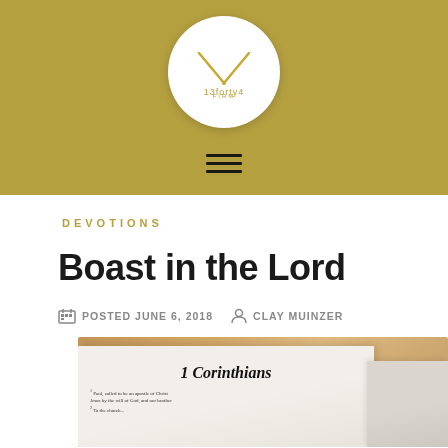[Figure (logo): 13forty4 logo: white circle with gold V-shaped clock hands and text '13forty4' below]
[Figure (other): Hamburger menu icon (three horizontal lines)]
DEVOTIONS
Boast in the Lord
POSTED JUNE 6, 2018   CLAY MUINZER
[Figure (photo): Open Bible showing 1 Corinthians page on a wooden table]